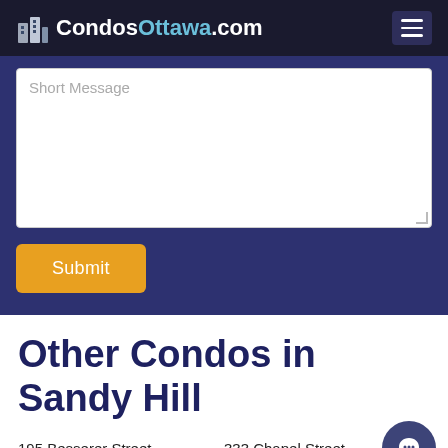CondosOttawa.com
Short Message
Submit
Other Condos in Sandy Hill
195 Besserer Street
333 Chapel Street